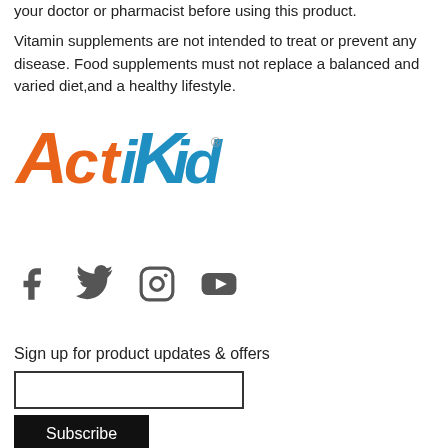your doctor or pharmacist before using this product.
Vitamin supplements are not intended to treat or prevent any disease. Food supplements must not replace a balanced and varied diet,and a healthy lifestyle.
[Figure (logo): ActiKid logo in orange and blue 3D text]
[Figure (other): Social media icons: Facebook, Twitter, Instagram, YouTube]
Sign up for product updates & offers
Subscribe